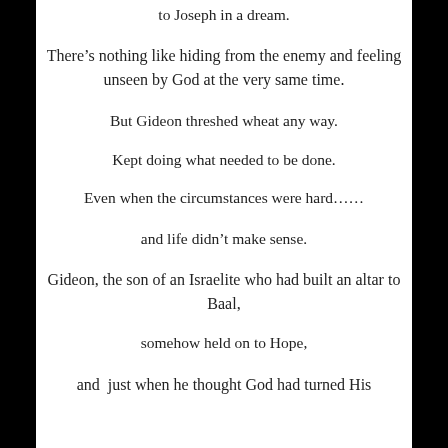to Joseph in a dream.
There’s nothing like hiding from the enemy and feeling unseen by God at the very same time.
But Gideon threshed wheat any way.
Kept doing what needed to be done.
Even when the circumstances were hard……
and life didn’t make sense.
Gideon, the son of an Israelite who had built an altar to Baal,
somehow held on to Hope,
and  just when he thought God had turned His